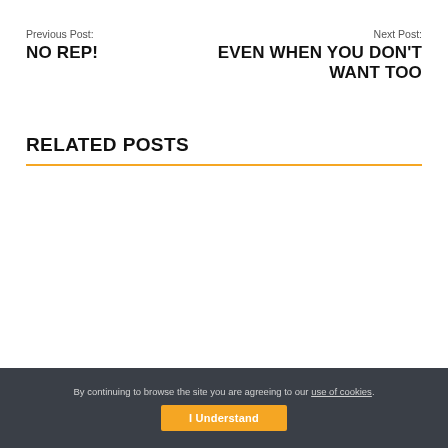Previous Post:
NO REP!
Next Post:
EVEN WHEN YOU DON'T WANT TOO
RELATED POSTS
By continuing to browse the site you are agreeing to our use of cookies.
I Understand